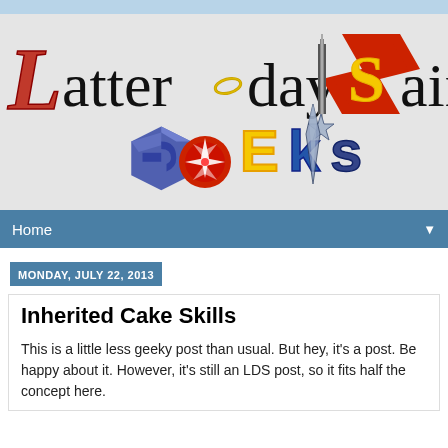[Figure (logo): Latter-day Saint Geeks blog header logo with stylized text combining LDS and geek pop culture imagery including Superman logo, GameCube logo, Star Wars, and other geek references]
Home ▼
MONDAY, JULY 22, 2013
Inherited Cake Skills
This is a little less geeky post than usual. But hey, it's a post. Be happy about it. However, it's still an LDS post, so it fits half the concept here.